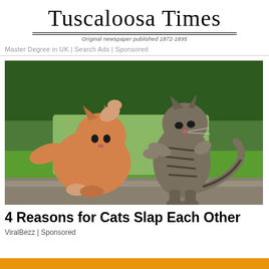Tuscaloosa Times
Original newspaper published 1872-1895
Master Degree in UK | Search Ads | Sponsored
[Figure (photo): Two cats fighting outdoors on grass — an orange fluffy cat on the left raising its paw, and a tabby cat on the right standing upright with paw extended, green hedge and grass in background]
4 Reasons for Cats Slap Each Other
ViralBezz | Sponsored